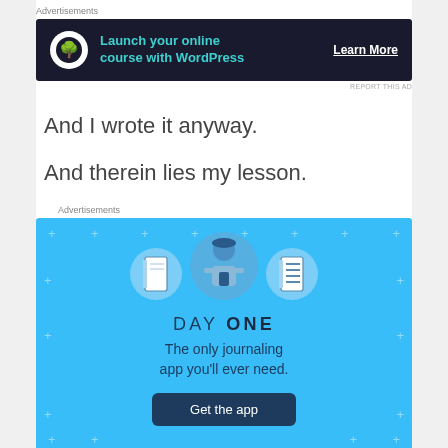Advertisements
[Figure (screenshot): Dark banner ad: bonsai tree icon, text 'Launch your online course with WordPress', button 'Learn More']
REPORT THIS AD
And I wrote it anyway.
And therein lies my lesson.
Advertisements
[Figure (screenshot): Day One app advertisement on blue background with illustrated character holding phone, notebook and list icons, text 'DAY ONE - The only journaling app you'll ever need.' and 'Get the app' button]